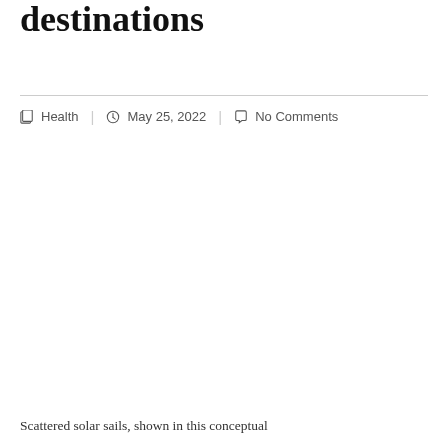destinations
Health | May 25, 2022 | No Comments
Scattered solar sails, shown in this conceptual